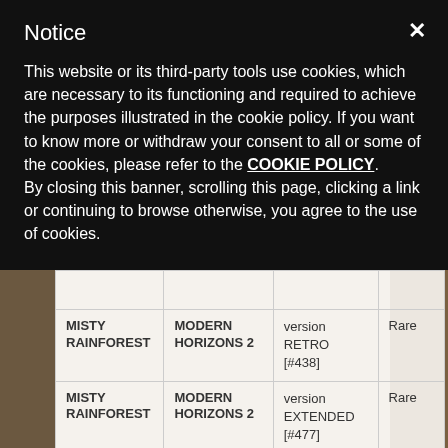Notice
This website or its third-party tools use cookies, which are necessary to its functioning and required to achieve the purposes illustrated in the cookie policy. If you want to know more or withdraw your consent to all or some of the cookies, please refer to the COOKIE POLICY. By closing this banner, scrolling this page, clicking a link or continuing to browse otherwise, you agree to the use of cookies.
|  |  |  |  |
| --- | --- | --- | --- |
|  |  |  |  |
| MISTY RAINFOREST | MODERN HORIZONS 2 | version RETRO [#438] | Rare |
| MISTY RAINFOREST | MODERN HORIZONS 2 | version EXTENDED [#477] | Rare |
| FOREST | MODERN HORIZONS 2 | version AUX REGULAR | Com |